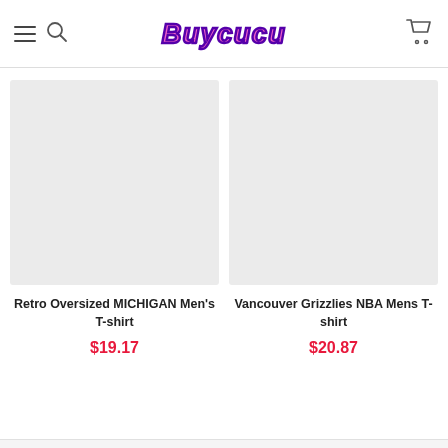Buycucu
[Figure (photo): Placeholder product image for Retro Oversized MICHIGAN Men's T-shirt (light gray rectangle)]
Retro Oversized MICHIGAN Men's T-shirt
$19.17
[Figure (photo): Placeholder product image for Vancouver Grizzlies NBA Mens T-shirt (light gray rectangle)]
Vancouver Grizzlies NBA Mens T-shirt
$20.87